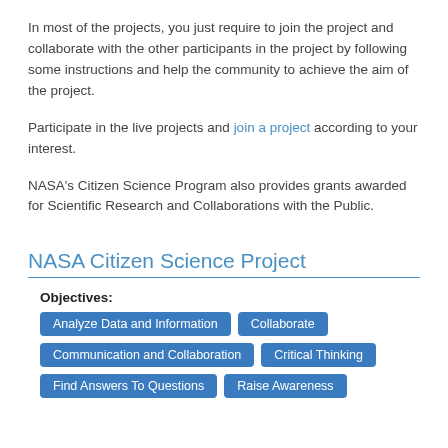In most of the projects, you just require to join the project and collaborate with the other participants in the project by following some instructions and help the community to achieve the aim of the project.
Participate in the live projects and join a project according to your interest.
NASA's Citizen Science Program also provides grants awarded for Scientific Research and Collaborations with the Public.
NASA Citizen Science Project
Objectives:
Analyze Data and Information
Collaborate
Communication and Collaboration
Critical Thinking
Find Answers To Questions
Raise Awareness